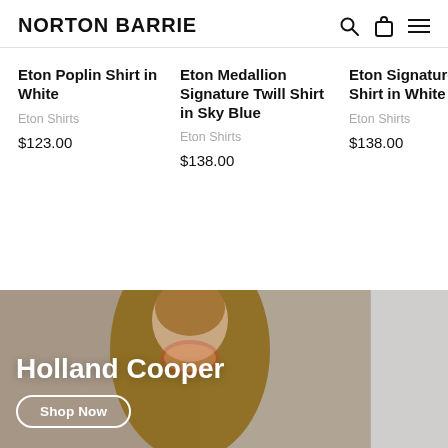NORTON BARRIE
Eton Poplin Shirt in White
Eton Shirts
$123.00
Eton Medallion Signature Twill Shirt in Sky Blue
Eton Shirts
$138.00
Eton Signature Twill Shirt in White
Eton Shirts
$138.00
[Figure (photo): Woman wearing a tan/brown coat with a silk scarf, promotional banner for Holland Cooper]
Holland Cooper
Shop Now